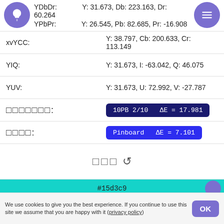YDbDr: Y: 31.673, Db: 223.163, Dr: 60.264
YPbPr: Y: 26.545, Pb: 82.685, Pr: -16.908
xvYCC: Y: 38.797, Cb: 200.633, Cr: 113.149
YIQ: Y: 31.673, I: -63.042, Q: 46.075
YUV: Y: 31.673, U: 72.992, V: -27.787
Munsell: 10PB 2/10  ΔE = 17.981
Name: Pinboard  ΔE = 7.101
随机颜色 ↺
#15d3c9
We use cookies to give you the best experience. If you continue to use this site we assume that you are happy with it (privacy policy)